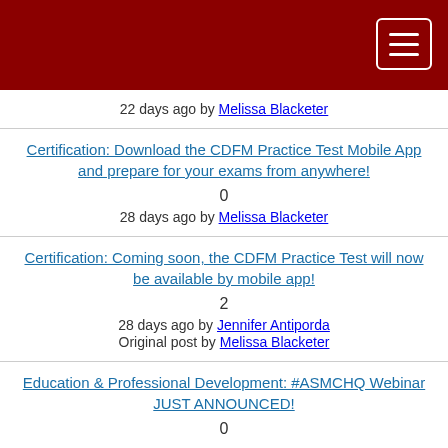22 days ago by Melissa Blacketer
Certification: Download the CDFM Practice Test Mobile App and prepare for your exams from anywhere!
0
28 days ago by Melissa Blacketer
Certification: Coming soon, the CDFM Practice Test will now be available by mobile app!
2
28 days ago by Jennifer Antiporda
Original post by Melissa Blacketer
Education & Professional Development: #ASMCHQ Webinar JUST ANNOUNCED!
0